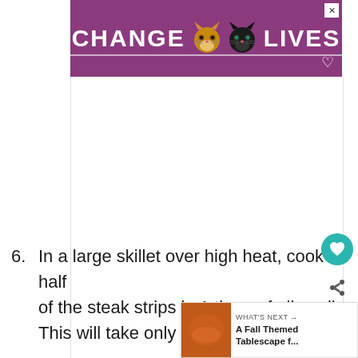[Figure (other): Advertisement banner with purple background showing two cat faces and text 'CHANGE LIVES' with heart icon and close button]
6. In a large skillet over high heat, cook half of the steak strips in 1 tbsp. of olive oil. This will take only a few minutes, as you do not want to overcook your meat, or